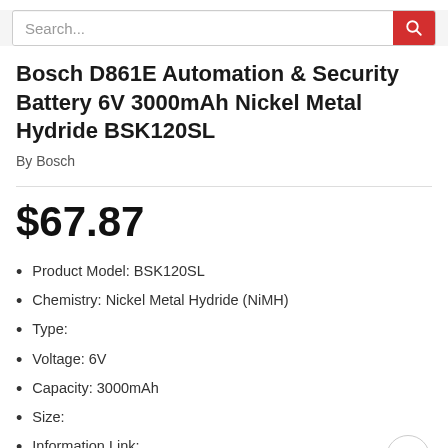Search...
Bosch D861E Automation & Security Battery 6V 3000mAh Nickel Metal Hydride BSK120SL
By Bosch
$67.87
Product Model: BSK120SL
Chemistry: Nickel Metal Hydride (NiMH)
Type:
Voltage: 6V
Capacity: 3000mAh
Size:
Information Link: